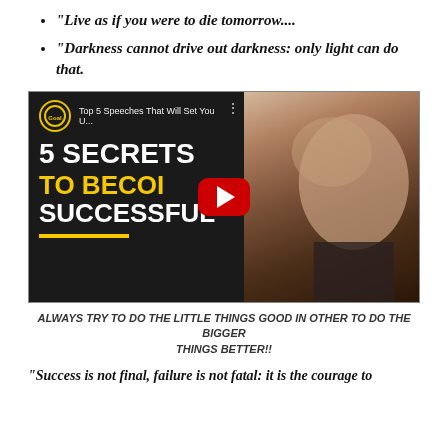"Live as if you were to die tomorrow....
"Darkness cannot drive out darkness: only light can do that.
[Figure (screenshot): YouTube video thumbnail titled 'Top 5 Speeches That Will Set You U...' with text '5 SECRETS TO BECOME SUCCESSFUL' overlaid on a dark background with a man's face visible, and a red YouTube play button in the center. Goalcast logo shown in top left.]
ALWAYS TRY TO DO THE LITTLE THINGS GOOD IN OTHER TO DO THE BIGGER THINGS BETTER!!
"Success is not final, failure is not fatal: it is the courage to